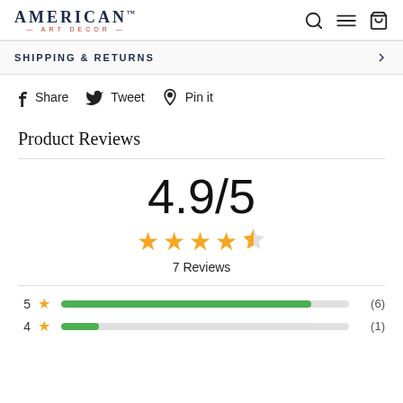AMERICAN™ ART DECOR
SHIPPING & RETURNS
Share  Tweet  Pin it
Product Reviews
4.9/5
7 Reviews
5 star (6)
4 star (1)